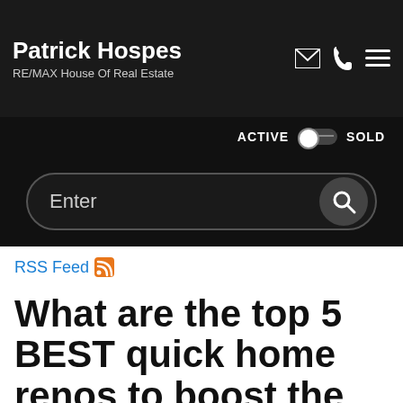Patrick Hospes
RE/MAX House Of Real Estate
ACTIVE   SOLD
[Figure (screenshot): Search bar with 'Enter' placeholder and magnifying glass button]
RSS Feed
What are the top 5 BEST quick home renos to boost the value of your home before selling?